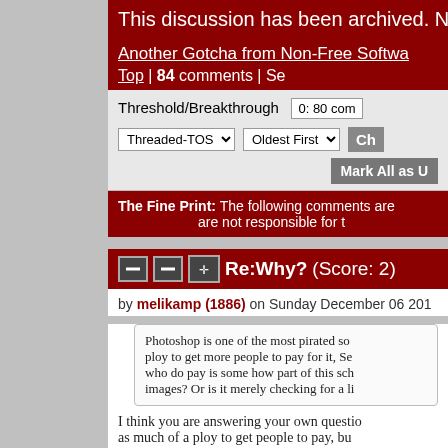This discussion has been archived. No
Another Gotcha from Non-Free Softwa... Top | 84 comments | Se
Threshold/Breakthrough  0: 80 com
Threaded-TOS  |  Oldest First  |  Ch  |  Mark All as U
The Fine Print: The following comments are... are not responsible for t
Re:Why? (Score: 2)
by melikamp (1886) on Sunday December 06 201
Photoshop is one of the most pirated so... ploy to get more people to pay for it, Se... who do pay is some how part of this sch... images? Or is it merely checking for a li
I think you are answering your own questio... as much of a ploy to get people to pay, bu... everything they do makes total sense. The... and things are not being sent to the cloud,... code, but we can make very safe assum